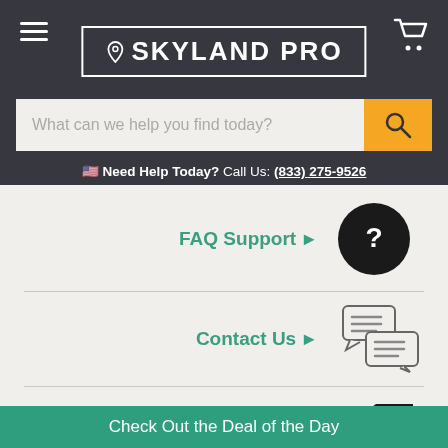SKYLAND PRO
What can we help you find today?
Need Help Today? Call Us: (833) 275-9526
FAQ Support
Contact Us
Price Match
Check Out the Deal of the Day